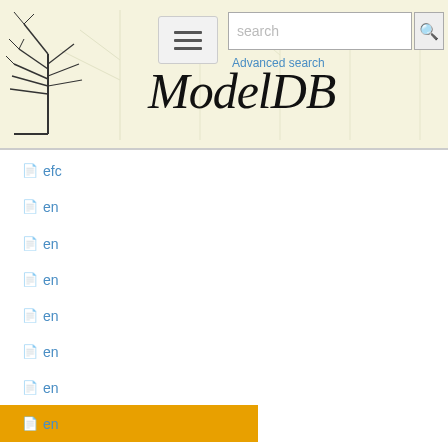ModelDB — Advanced search
efc
en
en
en
en
en
en
en (highlighted/selected)
en
es
es
es
es
es
es